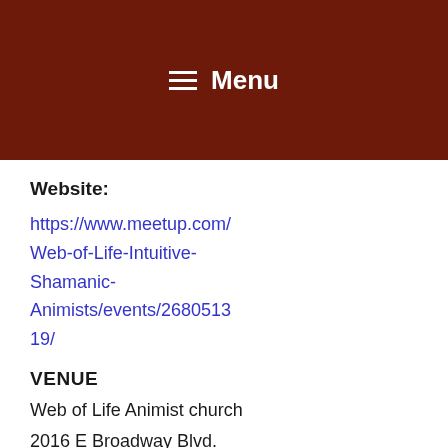≡ Menu
Website:
https://www.meetup.com/Web-of-Life-Intuitive-Shamanic-Animists/events/268051319/
VENUE
Web of Life Animist church
2016 E Broadway Blvd.
Tucson, az 85719 us
< Animist Soul Medic- 6    Personal Sessions with Quynn-Soul